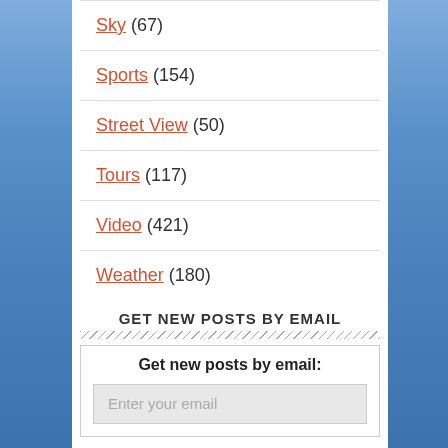Sky (67)
Sports (154)
Street View (50)
Tours (117)
Video (421)
Weather (180)
GET NEW POSTS BY EMAIL
Get new posts by email:
Enter your email